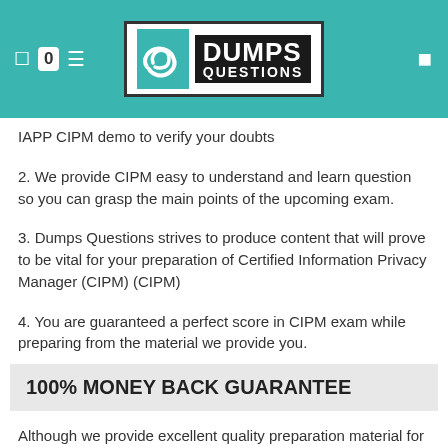DumpsQuestions logo header with navigation
IAPP CIPM demo to verify your doubts
2. We provide CIPM easy to understand and learn question so you can grasp the main points of the upcoming exam.
3. Dumps Questions strives to produce content that will prove to be vital for your preparation of Certified Information Privacy Manager (CIPM) (CIPM)
4. You are guaranteed a perfect score in CIPM exam while preparing from the material we provide you.
100% MONEY BACK GUARANTEE
Although we provide excellent quality preparation material for CIPM but if you are not satisfied by our service our quality we offer you a 100% money-back guarantee. So fell safe buying our products.